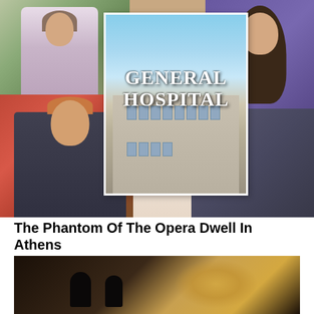[Figure (photo): Collage of General Hospital TV show cast photos with the show logo in the center. Multiple photos of actors and actresses arranged around a central 'GENERAL HOSPITAL' title card showing a hospital building.]
The Phantom Of The Opera Dwell In Athens
[Figure (photo): Dark scene from what appears to be a theatrical or operatic production with silhouetted figures and warm golden lighting in the background.]